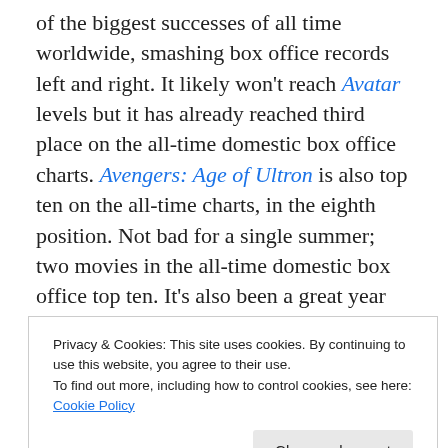of the biggest successes of all time worldwide, smashing box office records left and right. It likely won't reach Avatar levels but it has already reached third place on the all-time domestic box office charts. Avengers: Age of Ultron is also top ten on the all-time charts, in the eighth position. Not bad for a single summer; two movies in the all-time domestic box office top ten. It's also been a great year for family movies as Inside Out battled Jurassic World for box office supremacy throughout June  It is currently the third biggest Pixar film and sixth animated feature overall. However, Minions had a record breaking opening
Privacy & Cookies: This site uses cookies. By continuing to use this website, you agree to their use. To find out more, including how to control cookies, see here: Cookie Policy
and while many of the August releases have been